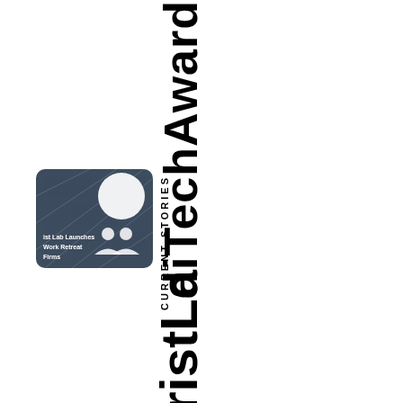diTechAward
[Figure (photo): Dark blue-grey card image showing a white circle and two person icons, with text: 'ist Lab Launches Work Retreat Firms']
CURRENT STORIES
LawyeristLa